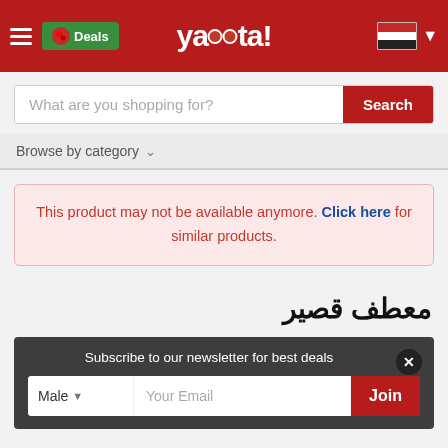yacota! — Deals — Egypt flag
What are you shopping for?
Browse by category
This product may not be available anymore. Click here for similar products.
معطف قصير
Subscribe to our newsletter for best deals
Male  Your Email  Join